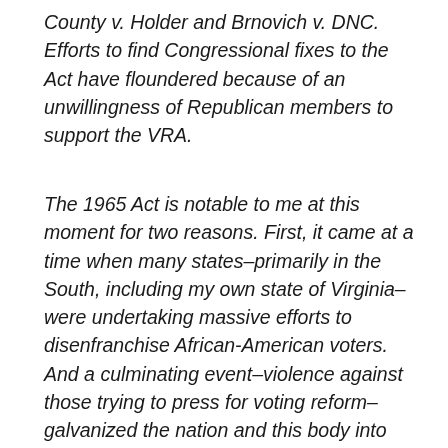County v. Holder and Brnovich v. DNC.  Efforts to find Congressional fixes to the Act have floundered because of an unwillingness of Republican members to support the VRA.
The 1965 Act is notable to me at this moment for two reasons. First, it came at a time when many states–primarily in the South, including my own state of Virginia–were undertaking massive efforts to disenfranchise African-American voters. And a culminating event–violence against those trying to press for voting reform–galvanized the nation and this body into action so that we could protect voting and thereby